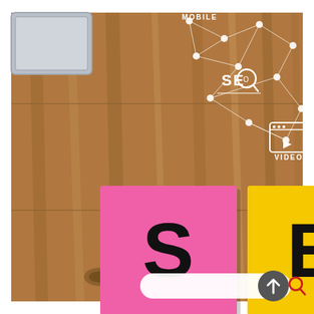[Figure (photo): SEO themed photo showing a wooden desk surface with a pink sticky note with letter 'S' and a yellow sticky note with letter 'E', representing SEO. In the upper portion, there are white network/connection diagrams overlaid on the wood, with labels 'MOBILE' at top, 'SEO' with a magnifying glass icon in the middle, and 'VIDEO' with a browser/video icon at lower right. A laptop corner is visible at top left. At the bottom, there is a white search bar with a dark grey circular button with an upward arrow and a red search icon.]